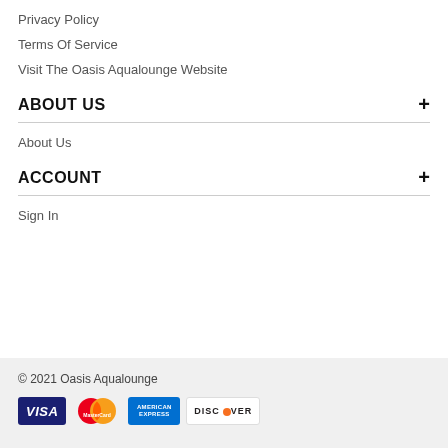Privacy Policy
Terms Of Service
Visit The Oasis Aqualounge Website
ABOUT US
About Us
ACCOUNT
Sign In
© 2021 Oasis Aqualounge